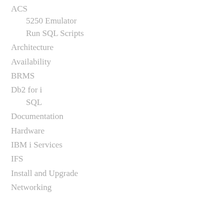ACS
5250 Emulator
Run SQL Scripts
Architecture
Availability
BRMS
Db2 for i
SQL
Documentation
Hardware
IBM i Services
IFS
Install and Upgrade
Networking